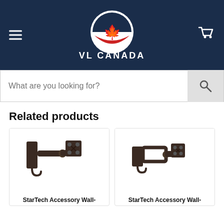[Figure (logo): VL Canada logo with maple leaf emblem on dark navy background, with hamburger menu icon on left and cart icon on right]
[Figure (screenshot): Search bar with placeholder text 'What are you looking for?' and search button]
Related products
[Figure (photo): StarTech Accessory Wall-mount bracket product image showing articulating monitor arm mount in dark bronze/black color]
StarTech Accessory Wall-
[Figure (photo): StarTech Accessory Wall-mount bracket product image showing a different articulating monitor wall mount in dark bronze/black color]
StarTech Accessory Wall-